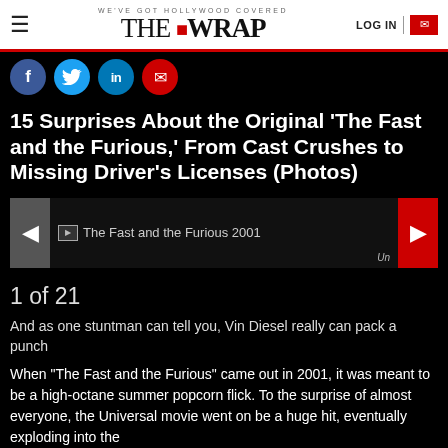WE'VE GOT HOLLYWOOD COVERED — THE WRAP — LOG IN
[Figure (screenshot): Social share bar with Facebook, Twitter, LinkedIn, and email icons on black background]
15 Surprises About the Original 'The Fast and the Furious,' From Cast Crushes to Missing Driver's Licenses (Photos)
[Figure (screenshot): Slideshow with left arrow (grey), broken image placeholder labeled 'The Fast and the Furious 2001', caption 'Un...' and right arrow (red)]
1 of 21
And as one stuntman can tell you, Vin Diesel really can pack a punch
When "The Fast and the Furious" came out in 2001, it was meant to be a high-octane summer popcorn flick. To the surprise of almost everyone, the Universal movie went on be a huge hit, eventually exploding into the